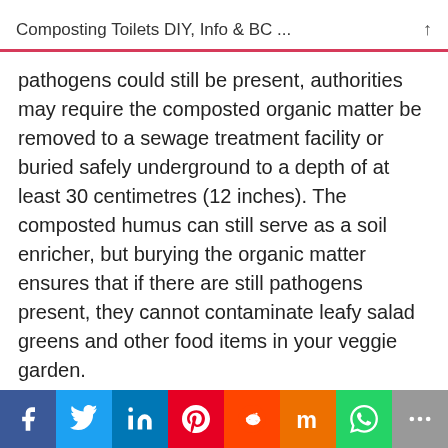Composting Toilets DIY, Info & BC ...
pathogens could still be present, authorities may require the composted organic matter be removed to a sewage treatment facility or buried safely underground to a depth of at least 30 centimetres (12 inches). The composted humus can still serve as a soil enricher, but burying the organic matter ensures that if there are still pathogens present, they cannot contaminate leafy salad greens and other food items in your veggie garden.
[Figure (infographic): Social media sharing bar with icons: Facebook (blue), Twitter (light blue), LinkedIn (dark blue), Pinterest (red), Reddit (orange-red), Mix (orange), WhatsApp (green), More (gray)]